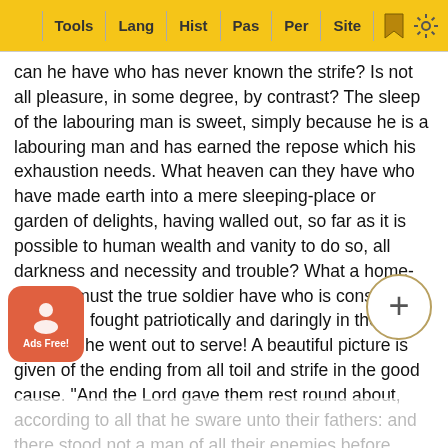Tools | Lang | Hist | Pas | Per | Site
can he have who has never known the strife? Is not all pleasure, in some degree, by contrast? The sleep of the labouring man is sweet, simply because he is a labouring man and has earned the repose which his exhaustion needs. What heaven can they have who have made earth into a mere sleeping-place or garden of delights, having walled out, so far as it is possible to human wealth and vanity to do so, all darkness and necessity and trouble? What a home-coming must the true soldier have who is conscious of having fought patriotically and daringly in the interests he went out to serve! A beautiful picture is given of the ending from all toil and strife in the good cause. "And the Lord gave them rest round about, according to all that he sware unto their fathers: and there stood not a man of all their enemies before them; the Lord delivered all their enemies into their hand." Christ himself was encouraged by the disclosed termination of his toil and suffering. He knew that he must reign … joy that w… g the